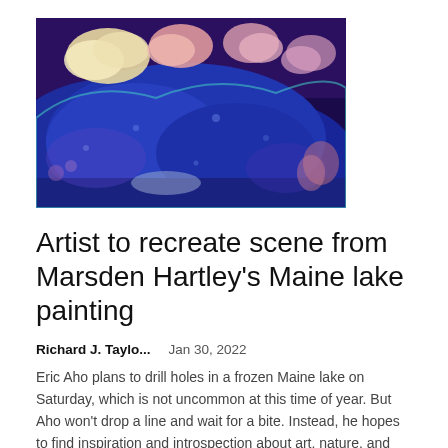[Figure (photo): A colorful impressionistic painting of a Maine lake scene with deep blue mountains, pink and white cloud-like forms, and vivid textured brushwork against a dark blue sky.]
Artist to recreate scene from Marsden Hartley's Maine lake painting
Richard J. Taylo...    Jan 30, 2022
Eric Aho plans to drill holes in a frozen Maine lake on Saturday, which is not uncommon at this time of year. But Aho won't drop a line and wait for a bite. Instead, he hopes to find inspiration and introspection about art, nature, and a...